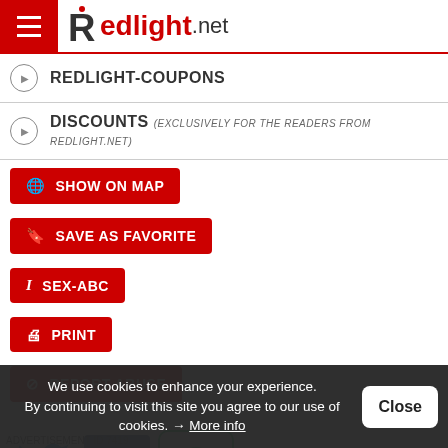Redlight.net
REDLIGHT-COUPONS
DISCOUNTS (EXCLUSIVELY FOR THE READERS FROM REDLIGHT.NET)
SHOW ON MAP
SAVE AS FAVORITE
SEX-ABC
PRINT
REPORT ABUSE
[Figure (other): Social sharing icons: Twitter bird, Facebook 'f', WhatsApp phone]
We use cookies to enhance your experience. By continuing to visit this site you agree to our use of cookies. → More info
ADVERTISEMENT ID 7419